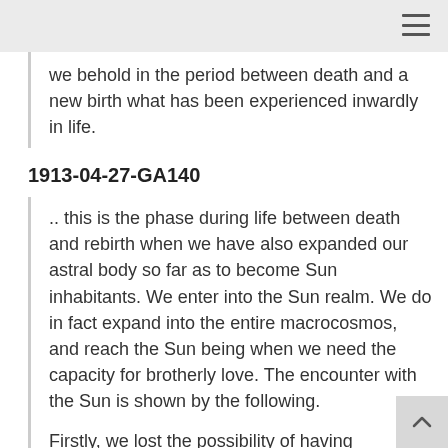we behold in the period between death and a new birth what has been experienced inwardly in life.
1913-04-27-GA140
.. this is the phase during life between death and rebirth when we have also expanded our astral body so far as to become Sun inhabitants. We enter into the Sun realm. We do in fact expand into the entire macrocosmos, and reach the Sun being when we need the capacity for brotherly love. The encounter with the Sun is shown by the following.
Firstly, we lost the possibility of having understanding for all human beings unless we have gained a connection to the words, “Wherever two are gathered in my name, there I am in the midst of them.” Christ did not mean wherever two Hindus or